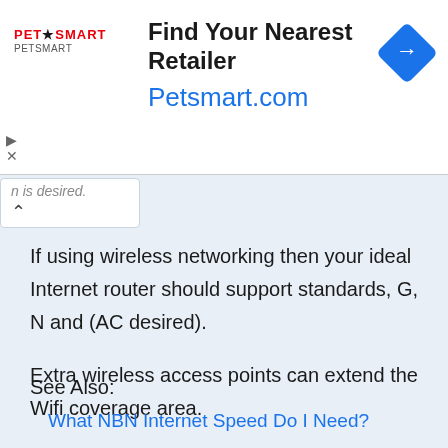[Figure (other): PetSmart advertisement banner with logo, headline 'Find Your Nearest Retailer', URL 'Petsmart.com', and a blue diamond navigation arrow icon]
n is desired.
If using wireless networking then your ideal Internet router should support standards, G, N and (AC desired).
Extra wireless access points can extend the Wifi coverage area.
See Also:
What NBN Internet Speed Do I Need?